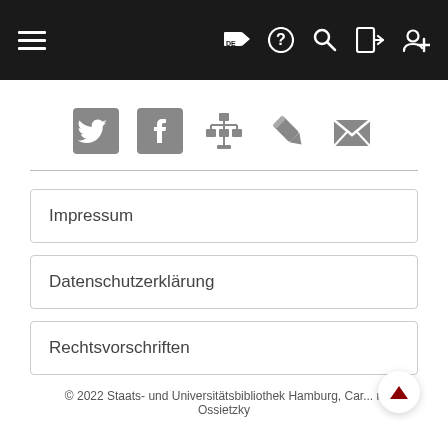[Figure (screenshot): Navigation bar with hamburger menu on left, and icons (flag/DE, help, search, login, register) on right, dark background]
[Figure (infographic): Social media and utility icons: Twitter, Facebook, org chart, pencil/edit, envelope/mail]
Impressum
Datenschutzerklärung
Rechtsvorschriften
© 2022 Staats- und Universitätsbibliothek Hamburg, Car... n Ossietzky